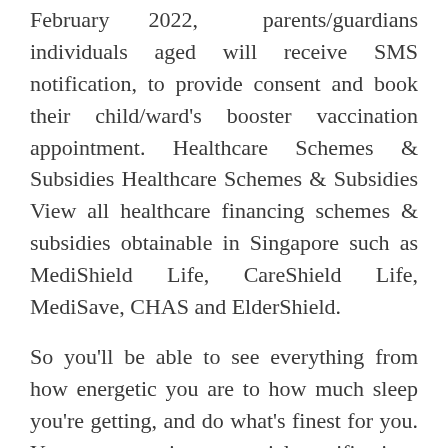February 2022, parents/guardians individuals aged will receive SMS notification, to provide consent and book their child/ward's booster vaccination appointment. Healthcare Schemes & Subsidies Healthcare Schemes & Subsidies View all healthcare financing schemes & subsidies obtainable in Singapore such as MediShield Life, CareShield Life, MediSave, CHAS and ElderShield.
So you'll be able to see everything from how energetic you are to how much sleep you're getting, and do what's finest for you. You can receive essential notifications about your beloved ones' health and view issues like their exercise, mobility information,